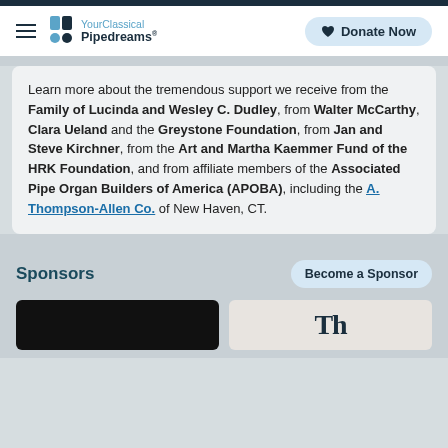YourClassical Pipedreams — Donate Now
Learn more about the tremendous support we receive from the Family of Lucinda and Wesley C. Dudley, from Walter McCarthy, Clara Ueland and the Greystone Foundation, from Jan and Steve Kirchner, from the Art and Martha Kaemmer Fund of the HRK Foundation, and from affiliate members of the Associated Pipe Organ Builders of America (APOBA), including the A. Thompson-Allen Co. of New Haven, CT.
Sponsors
Become a Sponsor